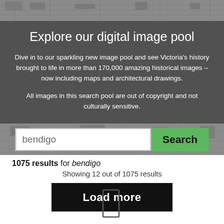[Figure (screenshot): Website hero section with dark gray background overlaid on a historical map image, showing a search interface for a digital image pool]
Explore our digital image pool
Dive in to our sparkling new image pool and see Victoria's history brought to life in more than 170,000 amazing historical images – now including maps and architectural drawings.
All images in this search pool are out of copyright and not culturally sensitive.
1075 results for bendigo
Showing 12 out of 1075 results
Load more